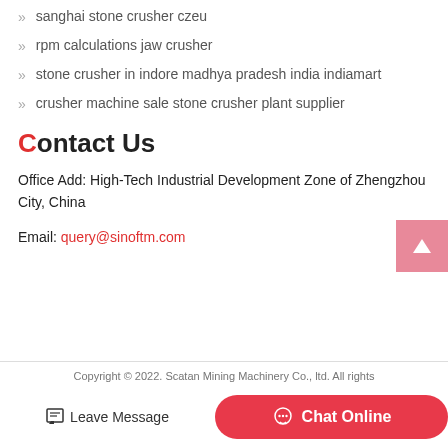sanghai stone crusher czeu
rpm calculations jaw crusher
stone crusher in indore madhya pradesh india indiamart
crusher machine sale stone crusher plant supplier
Contact Us
Office Add: High-Tech Industrial Development Zone of Zhengzhou City, China
Email: query@sinoftm.com
Copyright © 2022. Scatan Mining Machinery Co., ltd. All rights